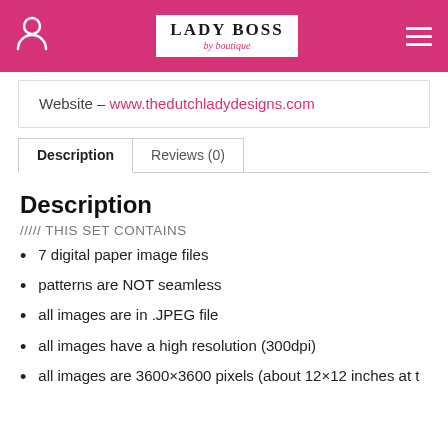LADY BOSS by boutique
Website – www.thedutchladydesigns.com
Description | Reviews (0)
Description
///// THIS SET CONTAINS
7 digital paper image files
patterns are NOT seamless
all images are in .JPEG file
all images have a high resolution (300dpi)
all images are 3600×3600 pixels (about 12×12 inches)